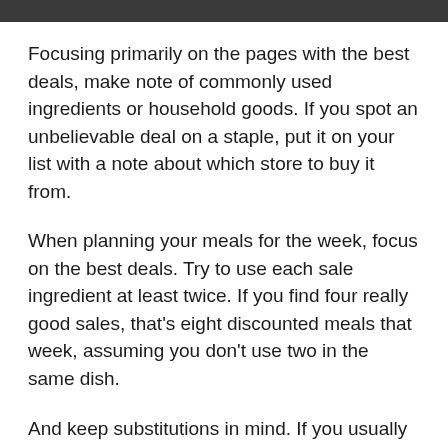Focusing primarily on the pages with the best deals, make note of commonly used ingredients or household goods. If you spot an unbelievable deal on a staple, put it on your list with a note about which store to buy it from.
When planning your meals for the week, focus on the best deals. Try to use each sale ingredient at least twice. If you find four really good sales, that's eight discounted meals that week, assuming you don't use two in the same dish.
And keep substitutions in mind. If you usually make shredded chicken enchiladas, but roast is on deep discount this week, make pot roast with